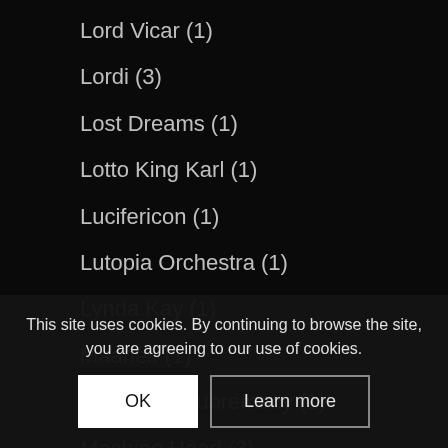Lord Vicar (1)
Lordi (3)
Lost Dreams (1)
Lotto King Karl (1)
Lucifericon (1)
Lutopia Orchestra (1)
Lynda Kay (1)
Maahes (1)
Machinae Supremacy (1)
Machine Head (3)
Madsen (1)
Maggers United (1)
Maggot Heart (1)
Magnacult (2)
Magnacult All (...)
Majesty (1)
This site uses cookies. By continuing to browse the site, you are agreeing to our use of cookies.